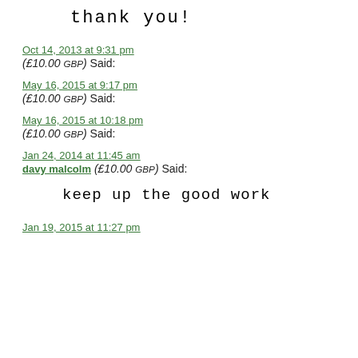thank you!
Oct 14, 2013 at 9:31 pm
(£10.00 GBP) Said:
May 16, 2015 at 9:17 pm
(£10.00 GBP) Said:
May 16, 2015 at 10:18 pm
(£10.00 GBP) Said:
Jan 24, 2014 at 11:45 am
davy malcolm (£10.00 GBP) Said:
keep up the good work
Jan 19, 2015 at 11:27 pm